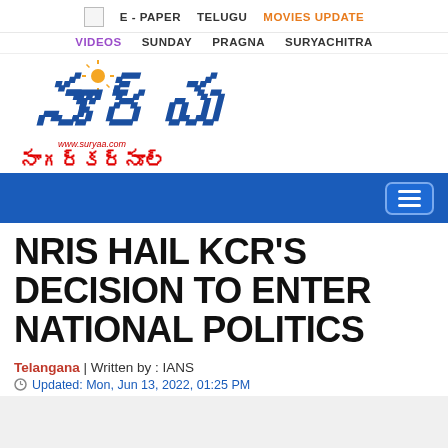E - PAPER | TELUGU | MOVIES UPDATE | VIDEOS | SUNDAY | PRAGNA | SURYACHITRA
[Figure (logo): Surya (సూర్య) Telugu newspaper logo with www.suryaa.com URL and నాగర్కర్నూల్ (Nagarkurnool) edition subtitle in red Telugu script]
NRIS HAIL KCR'S DECISION TO ENTER NATIONAL POLITICS
Telangana | Written by : IANS
Updated: Mon, Jun 13, 2022, 01:25 PM